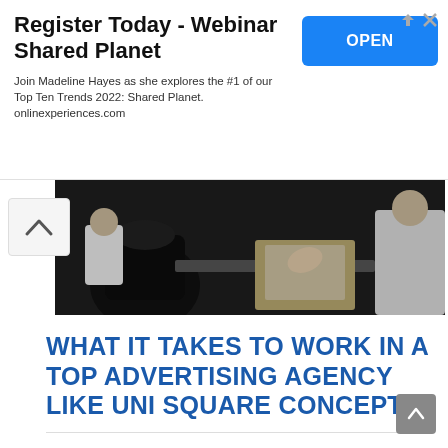[Figure (other): Advertisement banner: Register Today - Webinar Shared Planet. Join Madeline Hayes as she explores the #1 of our Top Ten Trends 2022: Shared Planet. onlinexperiences.com. Blue OPEN button on right side.]
[Figure (photo): Photograph showing people in an office or professional setting, dark toned image with figures in white shirts near desk or counter area.]
WHAT IT TAKES TO WORK IN A TOP ADVERTISING AGENCY LIKE UNI SQUARE CONCEPTS